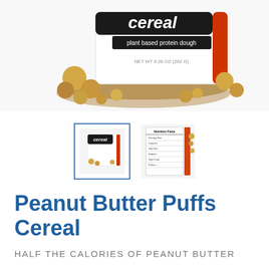[Figure (photo): Product photo of Peanut Butter Puffs Cereal container showing product branding, plant based protein dough label, and peanut butter puff cereal pieces arranged around the jar]
[Figure (photo): Thumbnail image of the product front view, selected state with blue border]
[Figure (photo): Thumbnail image of the product nutrition facts panel on back]
Peanut Butter Puffs Cereal
HALF THE CALORIES OF PEANUT BUTTER